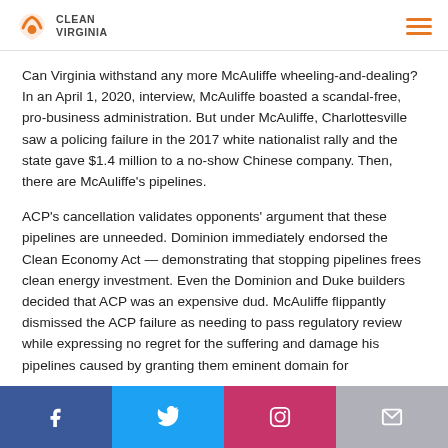CLEAN VIRGINIA
Can Virginia withstand any more McAuliffe wheeling-and-dealing? In an April 1, 2020, interview, McAuliffe boasted a scandal-free, pro-business administration. But under McAuliffe, Charlottesville saw a policing failure in the 2017 white nationalist rally and the state gave $1.4 million to a no-show Chinese company. Then, there are McAuliffe’s pipelines.
ACP’s cancellation validates opponents’ argument that these pipelines are unneeded. Dominion immediately endorsed the Clean Economy Act — demonstrating that stopping pipelines frees clean energy investment. Even the Dominion and Duke builders decided that ACP was an expensive dud. McAuliffe flippantly dismissed the ACP failure as needing to pass regulatory review while expressing no regret for the suffering and damage his pipelines caused by granting them eminent domain for
Facebook  Twitter  Instagram  Email